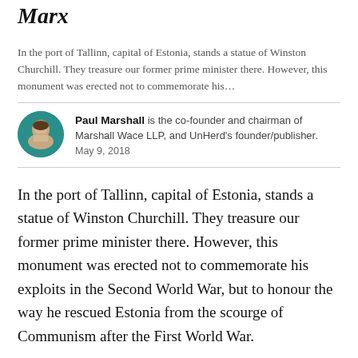Marx
In the port of Tallinn, capital of Estonia, stands a statue of Winston Churchill. They treasure our former prime minister there. However, this monument was erected not to commemorate his…
Paul Marshall is the co-founder and chairman of Marshall Wace LLP, and UnHerd's founder/publisher. May 9, 2018
In the port of Tallinn, capital of Estonia, stands a statue of Winston Churchill. They treasure our former prime minister there. However, this monument was erected not to commemorate his exploits in the Second World War, but to honour the way he rescued Estonia from the scourge of Communism after the First World War.
In December 1918, when he was Minister of Munitions, Churchill despatched a naval squadron to the Baltic